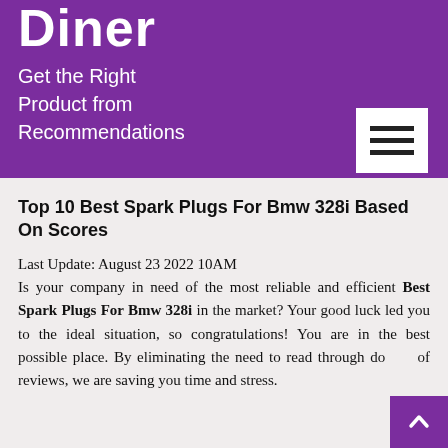Diner
Get the Right Product from Recommendations
Top 10 Best Spark Plugs For Bmw 328i Based On Scores
Last Update: August 23 2022 10AM
Is your company in need of the most reliable and efficient Best Spark Plugs For Bmw 328i in the market? Your good luck led you to the ideal situation, so congratulations! You are in the best possible place. By eliminating the need to read through dozens of reviews, we are saving you time and stress.